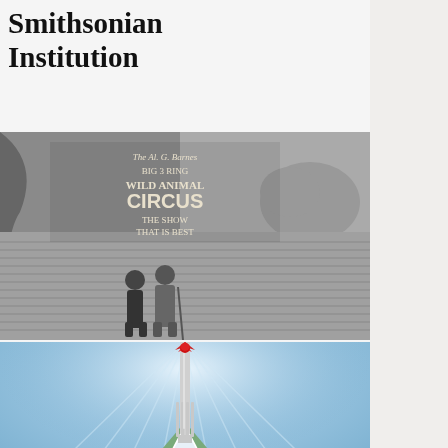Smithsonian Institution
[Figure (photo): Black and white photograph of two people standing in front of a circus banner reading 'The Al G. Barnes Big 3 Ring Wild Animal Circus - The Show That Is Different']
[Figure (illustration): Colorful illustration showing a large silver fork descending from the sky above a mountain landscape with pine trees, snow-capped peaks, and a blue sky with radiating light beams. A small red decorative element at top.]
[Figure (photo): Black and white photograph showing a misty or smoky landscape scene, partially visible at the bottom of the page.]